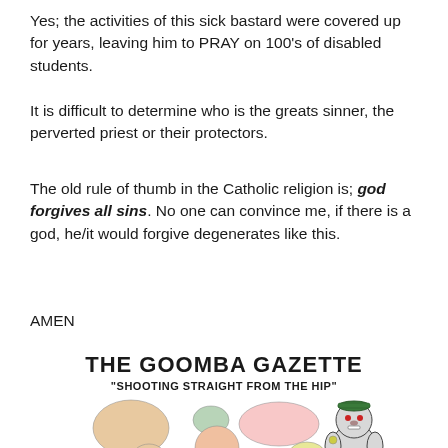Yes; the activities of this sick bastard were covered up for years, leaving him to PRAY on 100's of disabled students.
It is difficult to determine who is the greats sinner, the perverted priest or their protectors.
The old rule of thumb in the Catholic religion is; god forgives all sins. No one can convince me, if there is a god, he/it would forgive degenerates like this.
AMEN
[Figure (logo): The Goomba Gazette logo with text 'THE GOOMBA GAZETTE' and subtitle 'SHOOTING STRAIGHT FROM THE HIP' along with an illustration of a world map and a cartoon bulldog character wearing a green beret]